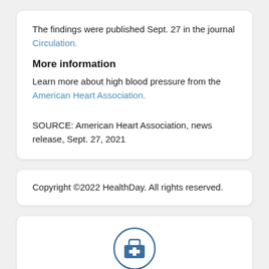The findings were published Sept. 27 in the journal Circulation.
More information
Learn more about high blood pressure from the American Heart Association.
SOURCE: American Heart Association, news release, Sept. 27, 2021
Copyright ©2022 HealthDay. All rights reserved.
[Figure (illustration): Medical kit / first aid icon inside a circle, blue outline style]